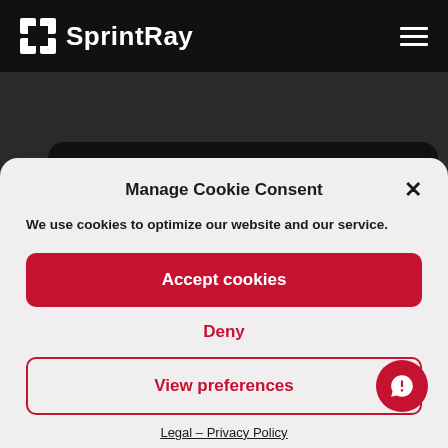[Figure (screenshot): SprintRay website navbar with logo and hamburger menu on dark background]
Manage Cookie Consent
We use cookies to optimize our website and our service.
Accept cookies
Deny
View preferences
Legal – Privacy Policy